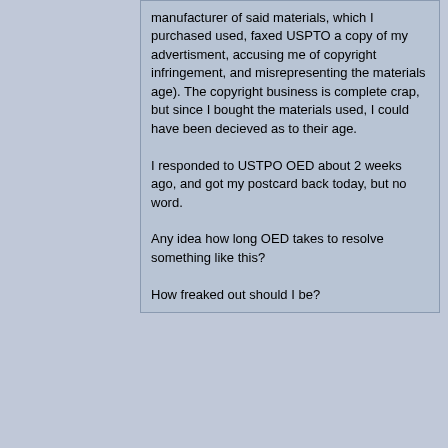manufacturer of said materials, which I purchased used, faxed USPTO a copy of my advertisment, accusing me of copyright infringement, and misrepresenting the materials age). The copyright business is complete crap, but since I bought the materials used, I could have been decieved as to their age.

I responded to USTPO OED about 2 weeks ago, and got my postcard back today, but no word.

Any idea how long OED takes to resolve something like this?

How freaked out should I be?
IP Logged
Isaac
Senior Member
★★★★
Re: Flagged for moral character...how long for dec
« Reply #3 on: Mar 24th, 2006, 12:45am »
I think the OP said that the course vendor did the faxing.
Some bar study vendors do indicate that their materials are licensed and that resale is
Posts: 3472